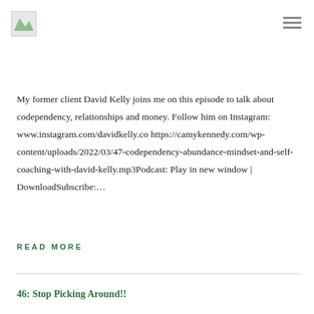[Figure (logo): Small logo image in top left corner]
[Figure (illustration): Hamburger menu icon in top right corner]
My former client David Kelly joins me on this episode to talk about codependency, relationships and money. Follow him on Instagram: www.instagram.com/davidkelly.co https://camykennedy.com/wp-content/uploads/2022/03/47-codependency-abundance-mindset-and-self-coaching-with-david-kelly.mp3Podcast: Play in new window | DownloadSubscribe:…
READ MORE
46: Stop Picking Around!!